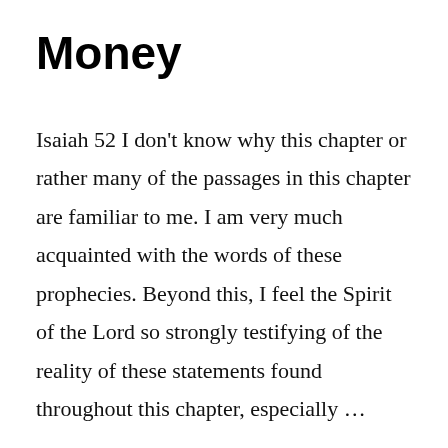Money
Isaiah 52 I don't know why this chapter or rather many of the passages in this chapter are familiar to me. I am very much acquainted with the words of these prophecies. Beyond this, I feel the Spirit of the Lord so strongly testifying of the reality of these statements found throughout this chapter, especially …
Continue reading →